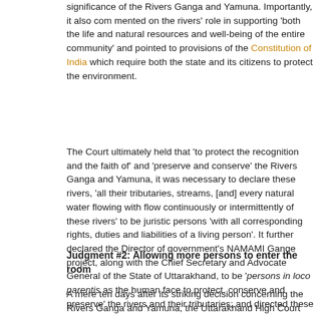significance of the Rivers Ganga and Yamuna. Importantly, it also commented on the rivers' role in supporting 'both the life and natural resources and well-being of the entire community' and pointed to provisions of the Constitution of India which require both the state and its citizens to protect the environment.
The Court ultimately held that 'to protect the recognition and the faith of' and 'preserve and conserve' the Rivers Ganga and Yamuna, it was necessary to declare these rivers, 'all their tributaries, streams, [and] every natural water flowing with flow continuously or intermittently of these rivers' to be juristic persons 'with all corresponding rights, duties and liabilities of a living person'. It further declared the Director of government's NAMAMI Gange project, along with the Chief Secretary and Advocate General of the State of Uttarakhand, to be 'persons in loco parentis as the human face to protect, conserve and preserve' the rivers and their tributaries; and directed these persons to 'promote the status of Rivers Ganges and Yamuna and also to promote the health and well being of these rivers'. The Court stated that, in making this decision, it was exercising parens patriae jurisdiction (i.e. the jurisdiction to assume responsibility for the welfare of those unable to act on their own behalf), but did not elaborate upon this principle.
Judgment #2: Allowing more persons to enter the room
A mere ten days after its striking decision concerning the Rivers Ganga and Yamuna, the Uttarakhand High Court widened the ambit of legal personhood even further to encompass 'the Glaciers including Gangotri [and] Yamu...